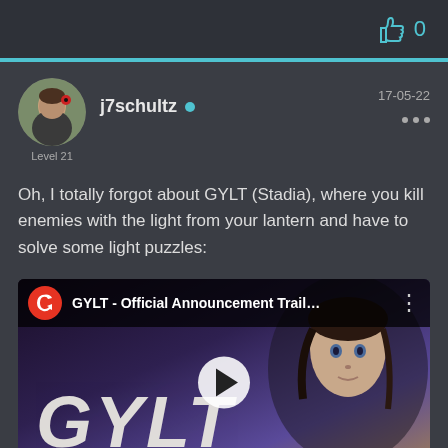0
j7schultz • Level 21
17-05-22
Oh, I totally forgot about GYLT (Stadia), where you kill enemies with the light from your lantern and have to solve some light puzzles:
[Figure (screenshot): YouTube-style video embed thumbnail for GYLT - Official Announcement Trail... with Google Stadia logo, GYLT text overlay, animated character, and play button]